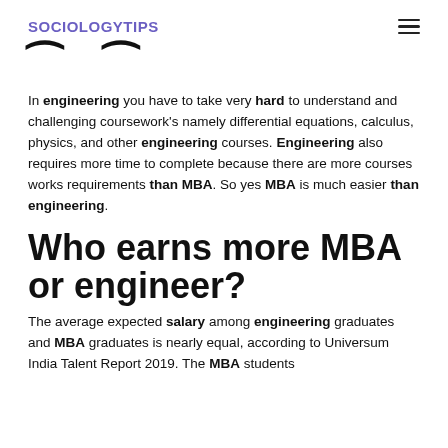SOCIOLOGYTIPS
In engineering you have to take very hard to understand and challenging coursework's namely differential equations, calculus, physics, and other engineering courses. Engineering also requires more time to complete because there are more courses works requirements than MBA. So yes MBA is much easier than engineering.
Who earns more MBA or engineer?
The average expected salary among engineering graduates and MBA graduates is nearly equal, according to Universum India Talent Report 2019. The MBA students